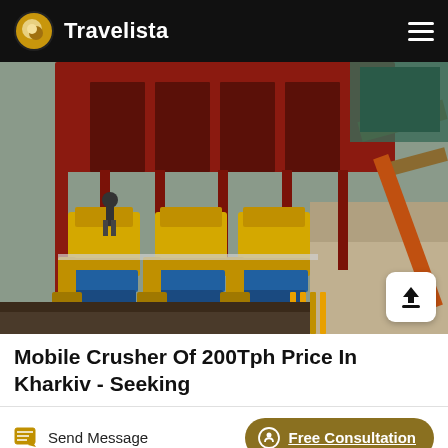Travelista
[Figure (photo): Aerial/overhead view of industrial mining crusher machinery — multiple yellow jaw crushers arranged in a row beneath a large red metal hopper structure, with conveyor belts and a worker visible in the background on a construction/mining site.]
Mobile Crusher Of 200Tph Price In Kharkiv - Seeking
Send Message
Free Consultation